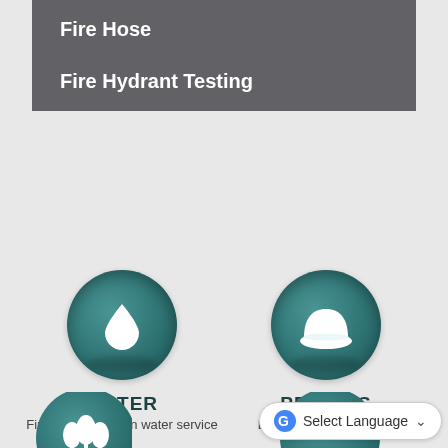Fire Hose
Fire Hydrant Testing
[Figure (illustration): Teal circular icon with a water drop symbol — WATER section]
WATER
Find information on water service
[Figure (illustration): Teal circular icon with a hard hat/helmet symbol — PERMITS section]
PERMITS
Building & development
[Figure (illustration): Teal circular icon with trees/parks symbol — partially visible bottom left]
[Figure (illustration): Teal circular icon — partially visible bottom right]
Select Language